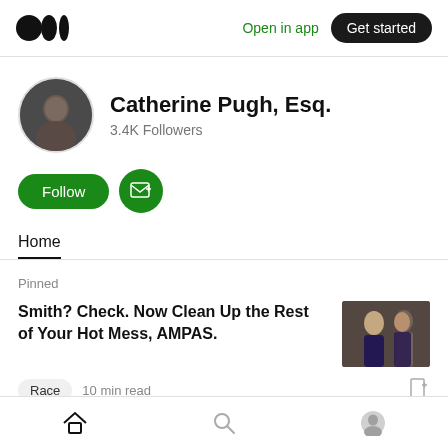Medium logo | Open in app | Get started
Catherine Pugh, Esq.
3.4K Followers
Follow | Subscribe
Home
Pinned
Smith? Check. Now Clean Up the Rest of Your Hot Mess, AMPAS.
[Figure (photo): Thumbnail image of people at an awards event]
Race  10 min read
Home | Search | Profile